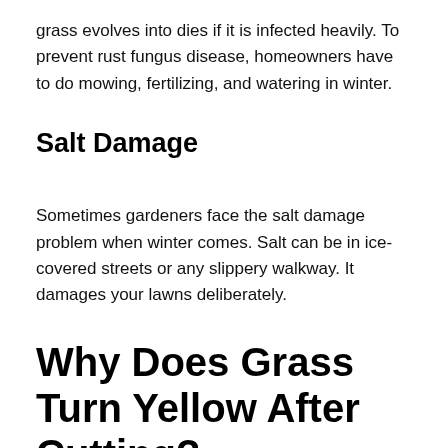grass evolves into dies if it is infected heavily. To prevent rust fungus disease, homeowners have to do mowing, fertilizing, and watering in winter.
Salt Damage
Sometimes gardeners face the salt damage problem when winter comes. Salt can be in ice-covered streets or any slippery walkway. It damages your lawns deliberately.
Why Does Grass Turn Yellow After Cutting?
After cutting the lawns, they turn on yellow lack of fertile soil, proper moisture, sufficient iron, nitrogen, or more. Now, we present here the general information.